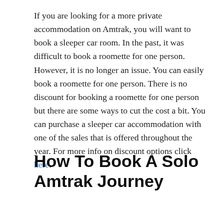If you are looking for a more private accommodation on Amtrak, you will want to book a sleeper car room. In the past, it was difficult to book a roomette for one person. However, it is no longer an issue. You can easily book a roomette for one person. There is no discount for booking a roomette for one person but there are some ways to cut the cost a bit. You can purchase a sleeper car accommodation with one of the sales that is offered throughout the year. For more info on discount options click here.
How To Book A Solo Amtrak Journey